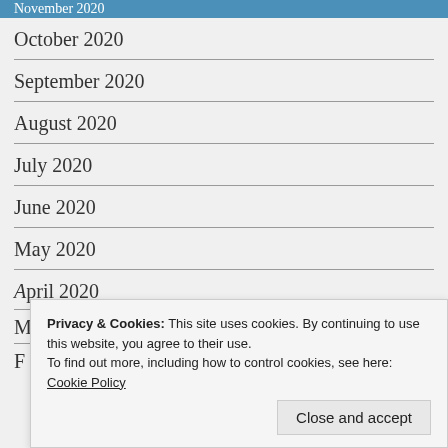November 2020
October 2020
September 2020
August 2020
July 2020
June 2020
May 2020
April 2020
M…
F…
Privacy & Cookies: This site uses cookies. By continuing to use this website, you agree to their use. To find out more, including how to control cookies, see here: Cookie Policy
Close and accept